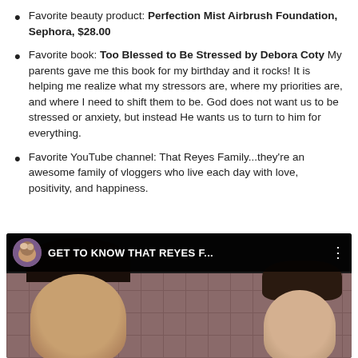Favorite beauty product: Perfection Mist Airbrush Foundation, Sephora, $28.00
Favorite book: Too Blessed to Be Stressed by Debora Coty My parents gave me this book for my birthday and it rocks! It is helping me realize what my stressors are, where my priorities are, and where I need to shift them to be. God does not want us to be stressed or anxiety, but instead He wants us to turn to him for everything.
Favorite YouTube channel: That Reyes Family...they're an awesome family of vloggers who live each day with love, positivity, and happiness.
[Figure (screenshot): YouTube video thumbnail for 'GET TO KNOW THAT REYES F...' showing a couple making faces at the camera, with a dark header bar showing a circular avatar, video title text, and three-dot menu icon.]